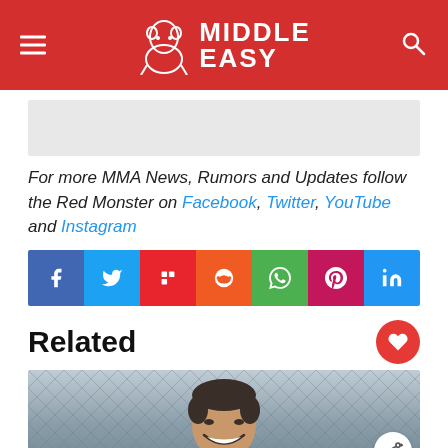Middle Easy
[Figure (photo): Gray placeholder image area]
For more MMA News, Rumors and Updates follow the Red Monster on Facebook, Twitter, YouTube and Instagram
[Figure (infographic): Social share buttons row: Facebook, Twitter, Flipboard, Reddit, WhatsApp, Pinterest, LinkedIn]
Related
[Figure (photo): Photo of a smiling man in front of chain-link fence]